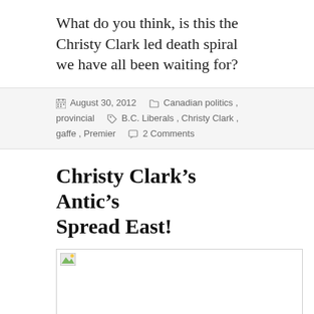What do you think, is this the Christy Clark led death spiral we have all been waiting for?
August 30, 2012   Canadian politics, provincial   B.C. Liberals , Christy Clark , gaffe , Premier   2 Comments
Christy Clark's Antic's Spread East!
[Figure (photo): Broken image placeholder with small image icon in top-left corner]
Marois: In the extortion Olympics,Clark will seem like a rank amateur compared to me!